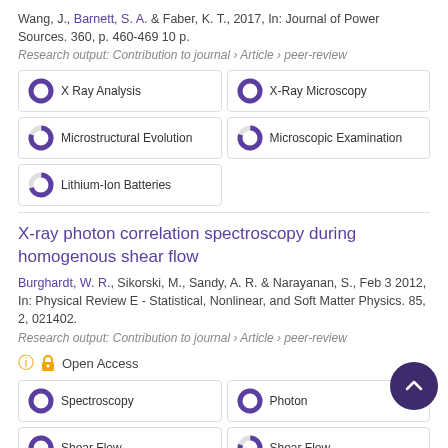Wang, J., Barnett, S. A. & Faber, K. T., 2017, In: Journal of Power Sources. 360, p. 460-469 10 p.
Research output: Contribution to journal › Article › peer-review
[Figure (infographic): Keyword pills with donut charts: X Ray Analysis (100%), X-Ray Microscopy (100%), Microstructural Evolution (80%), Microscopic Examination (80%), Lithium-Ion Batteries (70%)]
X-ray photon correlation spectroscopy during homogenous shear flow
Burghardt, W. R., Sikorski, M., Sandy, A. R. & Narayanan, S., Feb 3 2012, In: Physical Review E - Statistical, Nonlinear, and Soft Matter Physics. 85, 2, 021402.
Research output: Contribution to journal › Article › peer-review
Open Access
[Figure (infographic): Keyword pills with donut charts: Spectroscopy (100%), Photon (100%), Shear Flow (100%), Shear Flow (80%)]